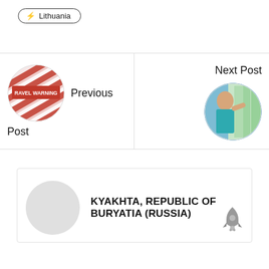⚡ Lithuania
[Figure (illustration): Circular image showing travel warning stamps/text in red and white, used as previous post thumbnail]
Previous Post
[Figure (photo): Circular photo of a woman at a market or colorful display, used as next post thumbnail]
Next Post
[Figure (illustration): Grey circle avatar placeholder for user or location]
KYAKHTA, REPUBLIC OF BURYATIA (RUSSIA)
[Figure (illustration): Grey rocket icon]